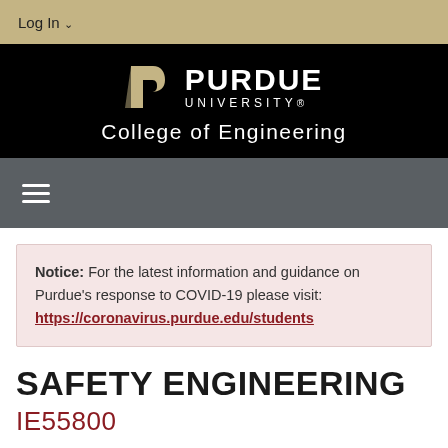Log In
[Figure (logo): Purdue University College of Engineering logo with black background, stylized P and PURDUE UNIVERSITY text, College of Engineering below]
Notice: For the latest information and guidance on Purdue's response to COVID-19 please visit: https://coronavirus.purdue.edu/students
SAFETY ENGINEERING
IE55800